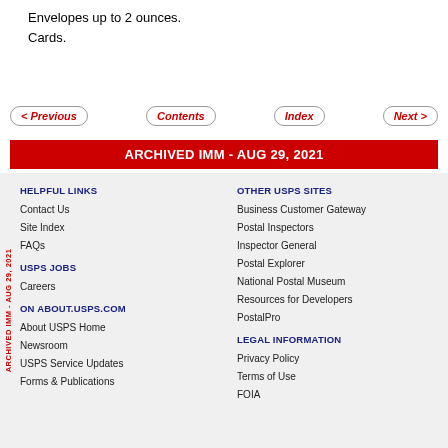Envelopes up to 2 ounces.
Cards.
< Previous | Contents | Index | Next >
ARCHIVED IMM - AUG 29, 2021
HELPFUL LINKS
Contact Us
Site Index
FAQs
USPS JOBS
Careers
ON ABOUT.USPS.COM
About USPS Home
Newsroom
USPS Service Updates
Forms & Publications
OTHER USPS SITES
Business Customer Gateway
Postal Inspectors
Inspector General
Postal Explorer
National Postal Museum
Resources for Developers
PostalPro
LEGAL INFORMATION
Privacy Policy
Terms of Use
FOIA